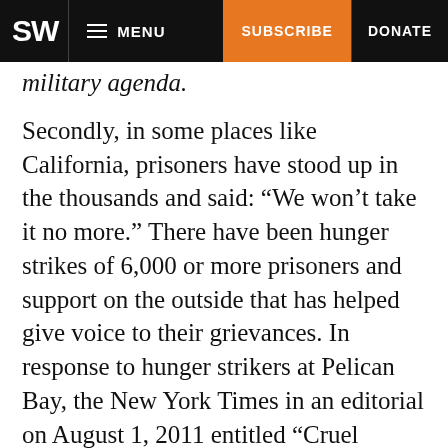SW  MENU  SUBSCRIBE  DONATE
military agenda.
Secondly, in some places like California, prisoners have stood up in the thousands and said: “We won’t take it no more.” There have been hunger strikes of 6,000 or more prisoners and support on the outside that has helped give voice to their grievances. In response to hunger strikers at Pelican Bay, the New York Times in an editorial on August 1, 2011 entitled “Cruel Isolation,” lamented that “For many decades, the civilized world has